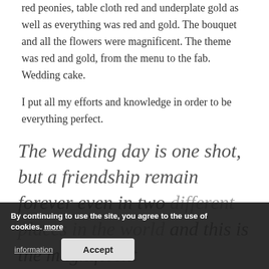red peonies, table cloth red and underplate gold as well as everything was red and gold. The bouquet and all the flowers were magnificent. The theme was red and gold, from the menu to the fab. Wedding cake.

I put all my efforts and knowledge in order to be everything perfect.
The wedding day is one shot, but a friendship remain forever even in two different places in the world and this is the magnificent
By continuing to use the site, you agree to the use of cookies. more information
Accept